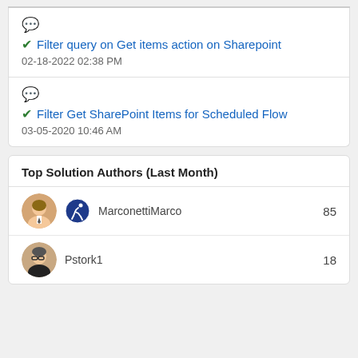Filter query on Get items action on Sharepoint
02-18-2022 02:38 PM
Filter Get SharePoint Items for Scheduled Flow
03-05-2020 10:46 AM
Top Solution Authors (Last Month)
MarconettiMarco 85
Pstork1 18